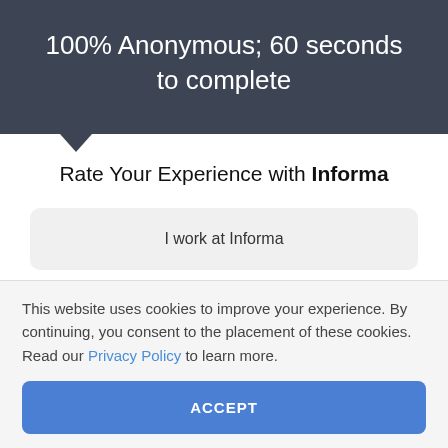100% Anonymous; 60 seconds to complete
Rate Your Experience with Informa
I work at Informa
I am a customer of Informa
This website uses cookies to improve your experience. By continuing, you consent to the placement of these cookies. Read our Privacy Policy to learn more.
ACCEPT